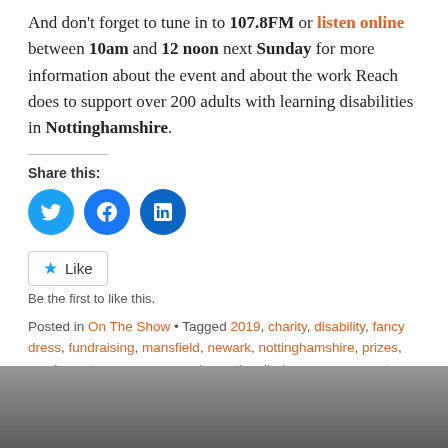And don't forget to tune in to 107.8FM or listen online between 10am and 12 noon next Sunday for more information about the event and about the work Reach does to support over 200 adults with learning disabilities in Nottinghamshire.
Share this:
[Figure (infographic): Three circular social media share buttons: Twitter (light blue), Facebook (blue), LinkedIn (dark blue)]
Like / Be the first to like this.
Posted in On The Show • Tagged 2019, charity, disability, fancy dress, fundraising, mansfield, newark, nottinghamshire, prizes, reach, santa run, sconce park, southwell • Leave a comment
[Figure (photo): Black and white photo at the bottom of the page, appears to be a vehicle interior or mechanical scene]